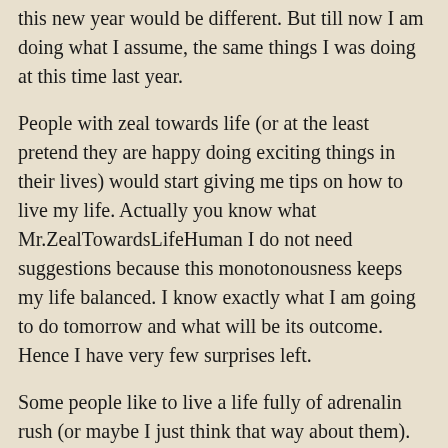this new year would be different. But till now I am doing what I assume, the same things I was doing at this time last year.
People with zeal towards life (or at the least pretend they are happy doing exciting things in their lives) would start giving me tips on how to live my life. Actually you know what Mr.ZealTowardsLifeHuman I do not need suggestions because this monotonousness keeps my life balanced. I know exactly what I am going to do tomorrow and what will be its outcome. Hence I have very few surprises left.
Some people like to live a life fully of adrenalin rush (or maybe I just think that way about them). Maybe they like life full of surprises with life hurling challenges and unexpected turns. I am simple person wanting a simple life without much unexpected turns. If a day comes when I really want some challenge I will surely ask life that day.
I am told I am lazy. So what? I like my laziness. I live my life as I want unlike some hypocrites out there! I do what I like and when I like. People who like poking into others' life, give suggestions about how to live please stay away. Even if you